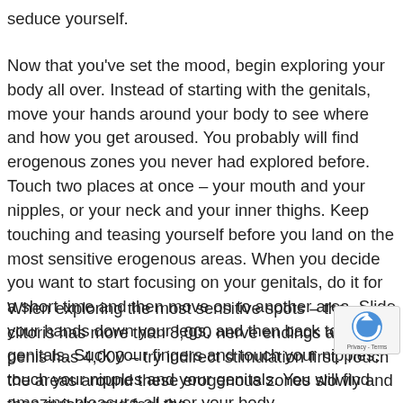seduce yourself.
Now that you've set the mood, begin exploring your body all over. Instead of starting with the genitals, move your hands around your body to see where and how you get aroused. You probably will find erogenous zones you never had explored before. Touch two places at once – your mouth and your nipples, or your neck and your inner thighs. Keep touching and teasing yourself before you land on the most sensitive erogenous areas. When you decide you want to start focusing on your genitals, do it for a short time and then move on to another area. Slide your hands down your legs, and then back to your genitals. Suck your fingers and touch your nipples, touch your nipples and your genitals. You will find amazing pleasure all over your body.
When exploring the most sensitive spots – the clitoris has more than 8,000 nerve endings and the penis has 4,000 – try indirect stimulation first. Touch the areas around these erogenous zones slowly and then quickly and feel the